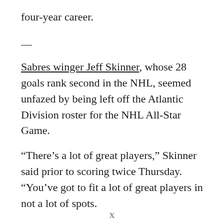four-year career.
—
Sabres winger Jeff Skinner, whose 28 goals rank second in the NHL, seemed unfazed by being left off the Atlantic Division roster for the NHL All-Star Game.
“There’s a lot of great players,” Skinner said prior to scoring twice Thursday. “You’ve got to fit a lot of great players in not a lot of spots.
X